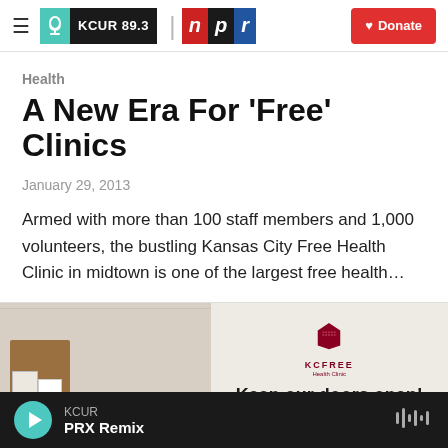≡ KCUR 89.3 | npr ♥ Donate
Health
A New Era For 'Free' Clinics
January 29, 2013
Armed with more than 100 staff members and 1,000 volunteers, the bustling Kansas City Free Health Clinic in midtown is one of the largest free health…
[Figure (photo): Photo of KC Free Health Clinic interior showing a bulletin board on the left and a sign reading 'Keep our doors open!' with KCFREE Health Clinic logo on the right]
KCUR PRX Remix